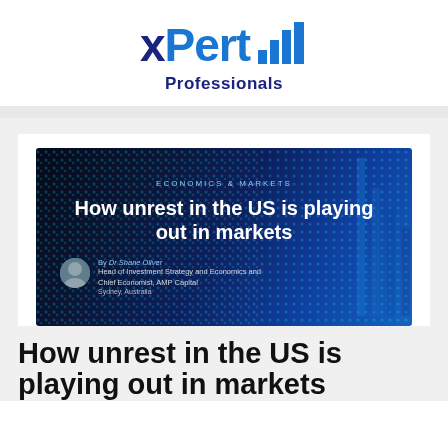[Figure (logo): xPert Professionals logo with dark navy 'x' and blue 'Pert' text, bar chart icon, and 'Professionals' subtitle]
[Figure (photo): Article banner image with dark blue/navy background with dot matrix pattern overlay. Text reads 'ECONOMICS & MARKETS' as category label, then 'How unrest in the US is playing out in markets' as the article title, with author byline 'By Dr Shane Oliver, Head of Investment Strategy and Economics and Chief Economist, AMP Capital, Sydney, Australia' with a small circular author photo.]
How unrest in the US is playing out in markets